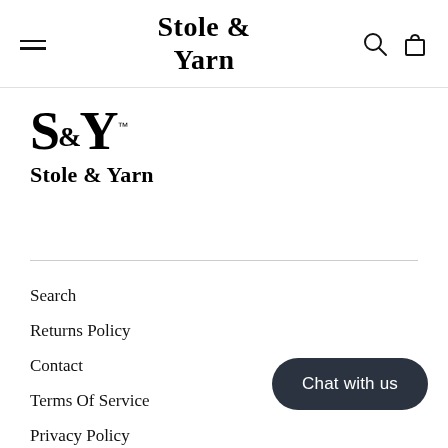Stole & Yarn
[Figure (logo): S&Y Stole & Yarn brand logo with trademark symbol]
Search
Returns Policy
Contact
Terms Of Service
Privacy Policy
Shipping Policy
COVID-19 Preparedness Policy